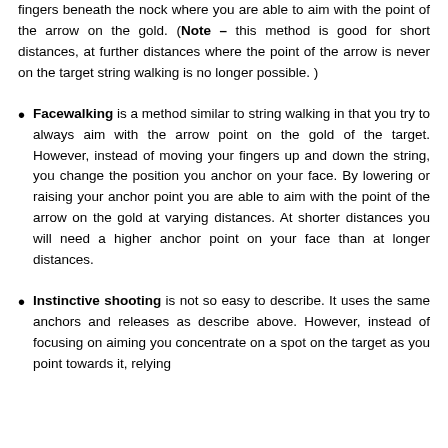fingers beneath the nock where you are able to aim with the point of the arrow on the gold. (Note – this method is good for short distances, at further distances where the point of the arrow is never on the target string walking is no longer possible. )
Facewalking is a method similar to string walking in that you try to always aim with the arrow point on the gold of the target. However, instead of moving your fingers up and down the string, you change the position you anchor on your face. By lowering or raising your anchor point you are able to aim with the point of the arrow on the gold at varying distances. At shorter distances you will need a higher anchor point on your face than at longer distances.
Instinctive shooting is not so easy to describe. It uses the same anchors and releases as describe above. However, instead of focusing on aiming you concentrate on a spot on the target as you point towards it, relying